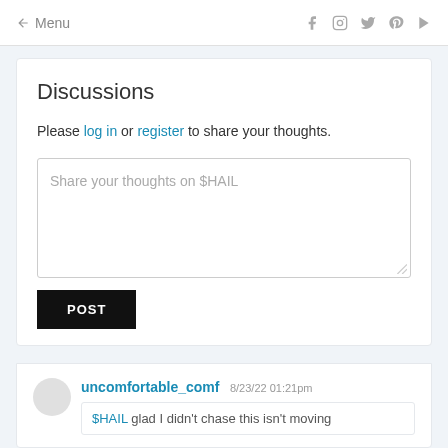← Menu  [social icons: Facebook, Instagram, Twitter, Pinterest, YouTube]
Discussions
Please log in or register to share your thoughts.
Share your thoughts on $HAIL
POST
uncomfortable_comf 8/23/22 01:21pm
$HAIL glad I didn't chase this isn't moving